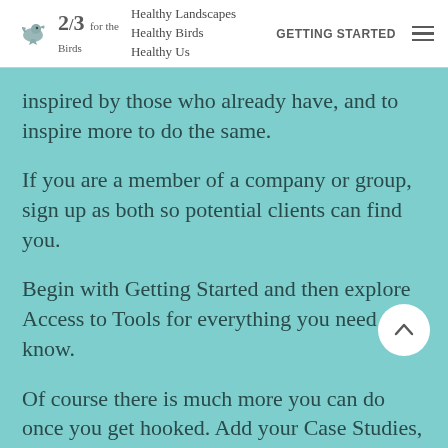2/3 for the Birds | Healthy Landscapes Healthy Birds Healthy Us | GETTING STARTED
inspired by those who already have, and to inspire more to do the same.
If you are a member of a company or group, sign up as both so potential clients can find you.
Begin with Getting Started and then explore Access to Tools for everything you need to know.
Of course there is much more you can do once you get hooked. Add your Case Studies, start a conversation on Events, and engage your Community.
Two Thirds for the Birds does not endorse